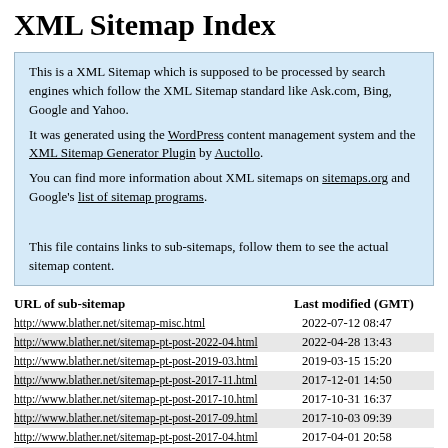XML Sitemap Index
This is a XML Sitemap which is supposed to be processed by search engines which follow the XML Sitemap standard like Ask.com, Bing, Google and Yahoo.
It was generated using the WordPress content management system and the XML Sitemap Generator Plugin by Auctollo.
You can find more information about XML sitemaps on sitemaps.org and Google's list of sitemap programs.

This file contains links to sub-sitemaps, follow them to see the actual sitemap content.
| URL of sub-sitemap | Last modified (GMT) |
| --- | --- |
| http://www.blather.net/sitemap-misc.html | 2022-07-12 08:47 |
| http://www.blather.net/sitemap-pt-post-2022-04.html | 2022-04-28 13:43 |
| http://www.blather.net/sitemap-pt-post-2019-03.html | 2019-03-15 15:20 |
| http://www.blather.net/sitemap-pt-post-2017-11.html | 2017-12-01 14:50 |
| http://www.blather.net/sitemap-pt-post-2017-10.html | 2017-10-31 16:37 |
| http://www.blather.net/sitemap-pt-post-2017-09.html | 2017-10-03 09:39 |
| http://www.blather.net/sitemap-pt-post-2017-04.html | 2017-04-01 20:58 |
| http://www.blather.net/sitemap-pt-post-2017-03.html | 2017-03-20 15:47 |
| http://www.blather.net/sitemap-pt-post-2016-01.html | 2016-01-06 20:36 |
| http://www.blather.net/sitemap-pt-post-2015-12.html | 2015-12-21 10:49 |